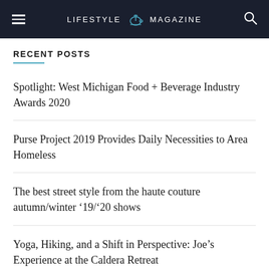LIFESTYLE MAGAZINE
RECENT POSTS
Spotlight: West Michigan Food + Beverage Industry Awards 2020
Purse Project 2019 Provides Daily Necessities to Area Homeless
The best street style from the haute couture autumn/winter ’19/’20 shows
Yoga, Hiking, and a Shift in Perspective: Joe’s Experience at the Caldera Retreat